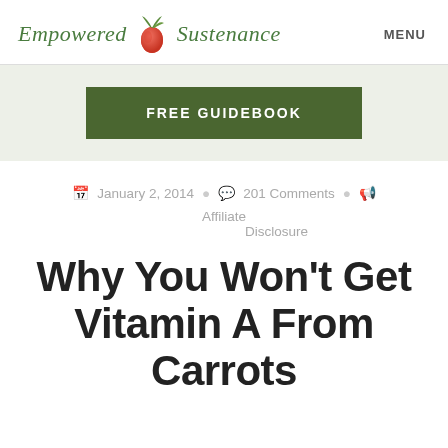Empowered Sustenance  MENU
[Figure (other): Green FREE GUIDEBOOK button on light green banner background]
January 2, 2014  201 Comments  Affiliate Disclosure
Why You Won't Get Vitamin A From Carrots